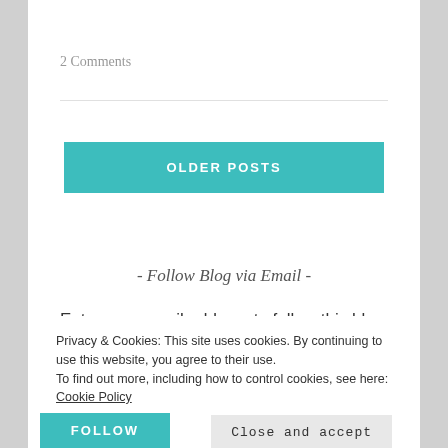2 Comments
OLDER POSTS
- Follow Blog via Email -
Enter your email address to follow this blog and receive
Privacy & Cookies: This site uses cookies. By continuing to use this website, you agree to their use.
To find out more, including how to control cookies, see here: Cookie Policy
Close and accept
FOLLOW